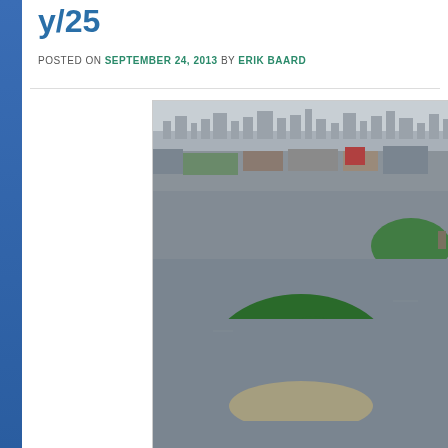y/25
POSTED ON SEPTEMBER 24, 2013 BY ERIK BAARD
[Figure (photo): Aerial photograph of a small green wooded island surrounded by brown river water, with an urban waterfront and city skyline visible in the background across the water.]